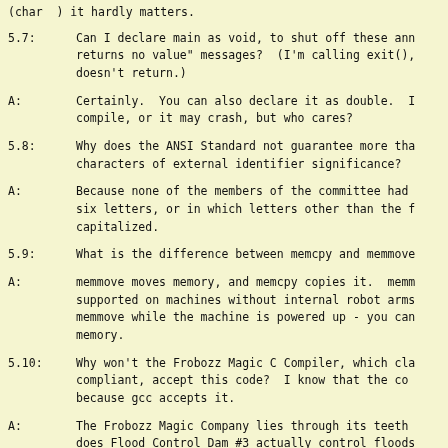(char ) it hardly matters.
5.7: Can I declare main as void, to shut off these ann returns no value" messages?  (I'm calling exit(), doesn't return.)
A: Certainly.  You can also declare it as double.  I compile, or it may crash, but who cares?
5.8: Why does the ANSI Standard not guarantee more tha characters of external identifier significance?
A: Because none of the members of the committee had six letters, or in which letters other than the f capitalized.
5.9: What is the difference between memcpy and memmove
A: memmove moves memory, and memcpy copies it.  memm supported on machines without internal robot arms memmove while the machine is powered up - you can memory.
5.10: Why won't the Frobozz Magic C Compiler, which cla compliant, accept this code?  I know that the co because gcc accepts it.
A: The Frobozz Magic Company lies through its teeth does Flood Control Dam #3 actually control floods think so.  The wands are excellent for making use parts of Flett, though.